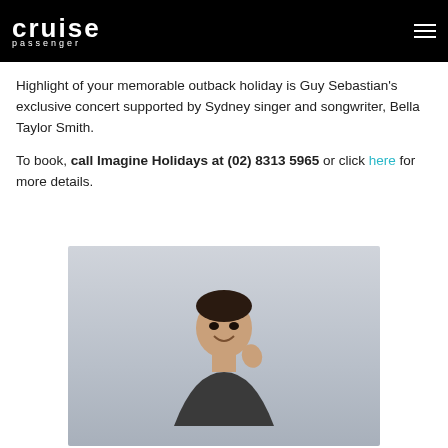cruise passenger
Highlight of your memorable outback holiday is Guy Sebastian's exclusive concert supported by Sydney singer and songwriter, Bella Taylor Smith.
To book, call Imagine Holidays at (02) 8313 5965 or click here for more details.
[Figure (photo): Photo of a smiling man (Guy Sebastian) with short dark hair, hand raised near his chin, against a light grey background]